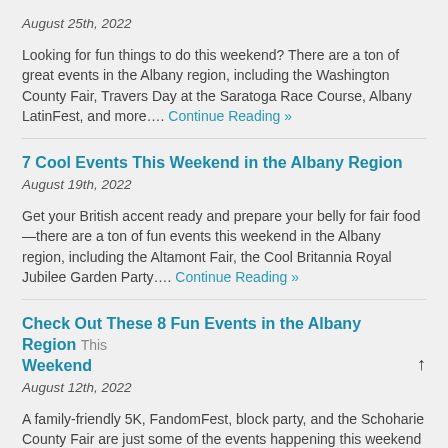August 25th, 2022
Looking for fun things to do this weekend? There are a ton of great events in the Albany region, including the Washington County Fair, Travers Day at the Saratoga Race Course, Albany LatinFest, and more.... Continue Reading »
7 Cool Events This Weekend in the Albany Region
August 19th, 2022
Get your British accent ready and prepare your belly for fair food—there are a ton of fun events this weekend in the Albany region, including the Altamont Fair, the Cool Britannia Royal Jubilee Garden Party.... Continue Reading »
Check Out These 8 Fun Events in the Albany Region This Weekend
August 12th, 2022
A family-friendly 5K, FandomFest, block party, and the Schoharie County Fair are just some of the events happening this weekend in the Capital Region. Tri-City ValleyCats vs. Empire State Greys August 12 Come out